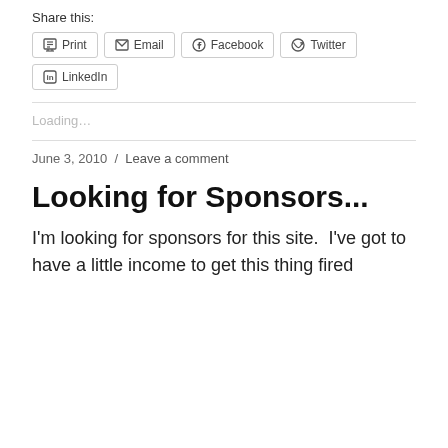Share this:
Print
Email
Facebook
Twitter
LinkedIn
Loading...
June 3, 2010  /  Leave a comment
Looking for Sponsors...
I'm looking for sponsors for this site.  I've got to have a little income to get this thing fired